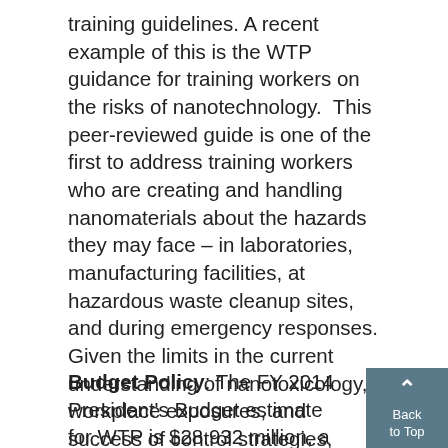training guidelines. A recent example of this is the WTP guidance for training workers on the risks of nanotechnology. This peer-reviewed guide is one of the first to address training workers who are creating and handling nanomaterials about the hazards they may face – in laboratories, manufacturing facilities, at hazardous waste cleanup sites, and during emergency responses. Given the limits in the current understanding of nanotoxicology, workplace exposures, and success of control strategies, defining effective training is particularly problematic, but workers clearly have the potential to be exposed and need to know about the risks they face.
Budget Policy: The FY 2014 President's Budget estimate for WTP is $28.932 million, a $0.176 million or 0.6 percent increase above the FY 2013...